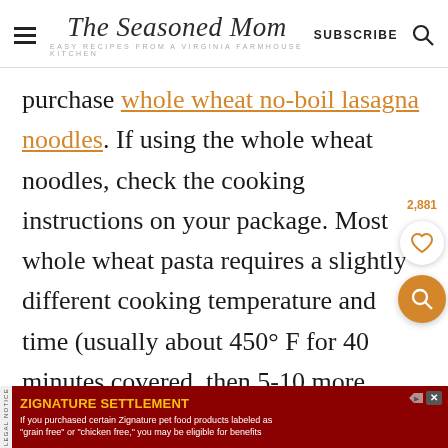The Seasoned Mom — EASY RECIPES FROM A VIRGINIA FARMHOUSE KITCHEN | SUBSCRIBE
purchase whole wheat no-boil lasagna noodles. If using the whole wheat noodles, check the cooking instructions on your package. Most whole wheat pasta requires a slightly different cooking temperature and time (usually about 450° F for 40 minutes covered, then 5-10 more
[Figure (other): Advertisement banner: ZIGNATURE SETTLEMENT — If you purchased certain Zignature pet food products labeled as 'grain free' or 'chicken free,' you may be eligible for benefits]